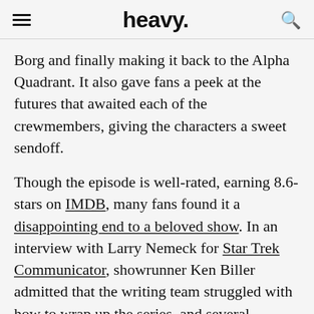heavy.
Borg and finally making it back to the Alpha Quadrant. It also gave fans a peek at the futures that awaited each of the crewmembers, giving the characters a sweet sendoff.
Though the episode is well-rated, earning 8.6-stars on IMDB, many fans found it a disappointing end to a beloved show. In an interview with Larry Nemeck for Star Trek Communicator, showrunner Ken Biller admitted that the writing team struggled with how to wrap up the series, and several potential endings were discussed.